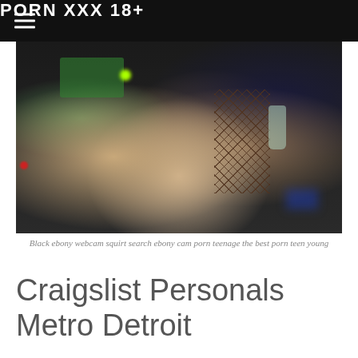PORN XXX 18+
[Figure (photo): Dark nightclub scene showing people dancing, one wearing a green plaid skirt and another in fishnet stockings, with colored lighting]
Black ebony webcam squirt search ebony cam porn teenage the best porn teen young
Craigslist Personals Metro Detroit